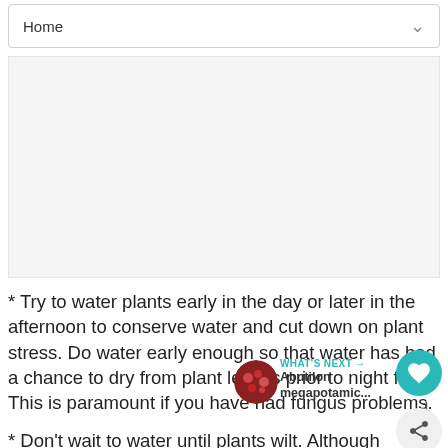Home
[Figure (other): Advertisement placeholder area (gray box)]
* Try to water plants early in the day or later in the afternoon to conserve water and cut down on plant stress. Do water early enough so that water has had a chance to dry from plant leaves prior to night fall. This is paramount if you have had fungus problems.
* Don't wait to water until plants wilt. Although